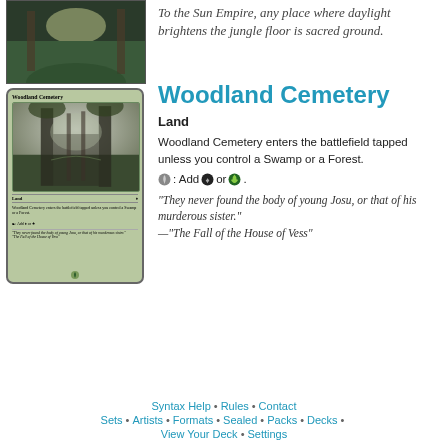[Figure (illustration): Top portion of a Magic: The Gathering card (cropped), showing card art with a dark/green jungle theme]
To the Sun Empire, any place where daylight brightens the jungle floor is sacred ground.
[Figure (illustration): Woodland Cemetery Magic: The Gathering card showing gothic stone archway in a dark forest with misty background. Card text: Land. Woodland Cemetery enters the battlefield tapped unless you control a Swamp or a Forest. T: Add B or G. Flavor text: They never found the body of young Josu, or that of his murderous sister. -The Fall of the House of Vess]
Woodland Cemetery
Land
Woodland Cemetery enters the battlefield tapped unless you control a Swamp or a Forest.
T: Add B or G.
"They never found the body of young Josu, or that of his murderous sister." —"The Fall of the House of Vess"
Syntax Help • Rules • Contact • Sets • Artists • Formats • Sealed • Packs • Decks • View Your Deck • Settings